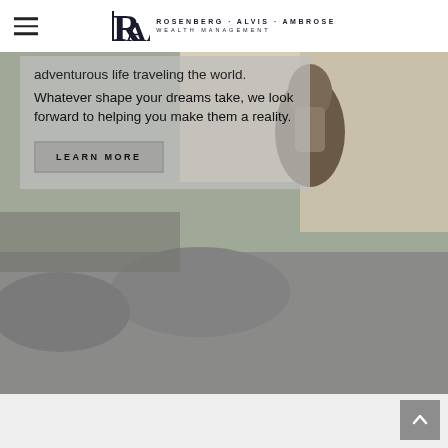Rosenberg · Alvis · Ambrose Wealth Management
[Figure (photo): Outdoor adventure photo showing rocky granite formations with holes/depressions, and a person with backpacks visible in the upper portion against a bright outdoor background.]
adventurous life traveling the world. Whatever shape your dreams take, we look forward to helping you make them a reality.
LEARN MORE